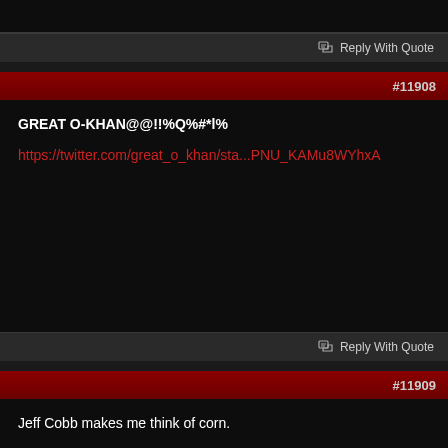Reply With Quote
#11908
GREAT O-KHAN@@!!%Q%#*l%
https://twitter.com/great_o_khan/sta...PNU_KAMu8WYhxA
Reply With Quote
#11909
Jeff Cobb makes me think of corn.